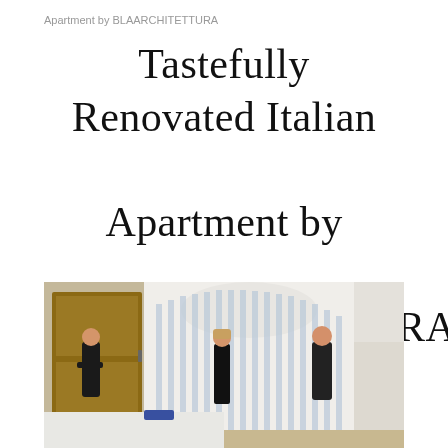Apartment by BLAARCHITETTURA
Tastefully Renovated Italian Apartment by BLAARCHITETTURA
[Figure (photo): Interior photograph of a renovated Italian apartment showing three people standing in a modern room with a large striped panel wall (vertical blue and white stripes), wooden sliding door on the left, and white furniture in the foreground. One man in black stands on the left, a woman in a black dress stands in the center, and a man in a dark t-shirt stands on the right.]